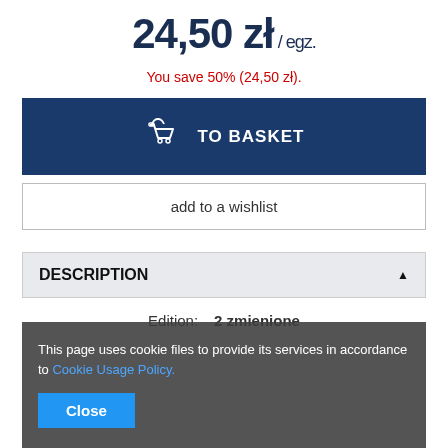24,50 zł / egz.
You save 50% (24,50 zł).
TO BASKET
add to a wishlist
DESCRIPTION
Edition: 2 zmienione
This page uses cookie files to provide its services in accordance to Cookie Usage Policy.
Close